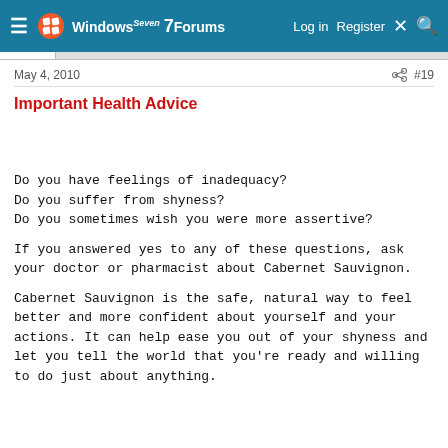Windows 7 Forums  Log in  Register  #19
May 4, 2010  #19
Important Health Advice
Do you have feelings of inadequacy?
Do you suffer from shyness?
Do you sometimes wish you were more assertive?
If you answered yes to any of these questions, ask your doctor or pharmacist about Cabernet Sauvignon.
Cabernet Sauvignon is the safe, natural way to feel better and more confident about yourself and your actions. It can help ease you out of your shyness and let you tell the world that you're ready and willing to do just about anything.